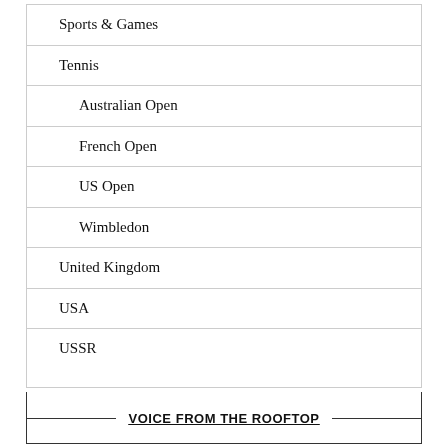Sports & Games
Tennis
Australian Open
French Open
US Open
Wimbledon
United Kingdom
USA
USSR
VOICE FROM THE ROOFTOP